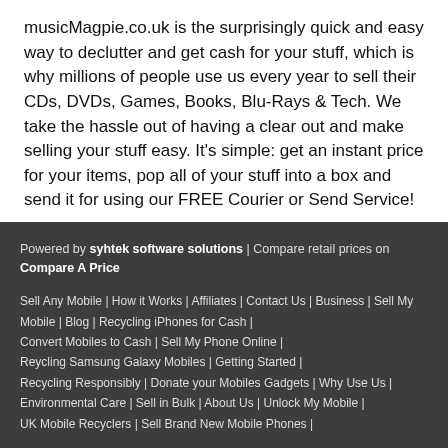musicMagpie.co.uk is the surprisingly quick and easy way to declutter and get cash for your stuff, which is why millions of people use us every year to sell their CDs, DVDs, Games, Books, Blu-Rays & Tech. We take the hassle out of having a clear out and make selling your stuff easy. It's simple: get an instant price for your items, pop all of your stuff into a box and send it for using our FREE Courier or Send Service!
Powered by syhtek software solutions | Compare retail prices on Compare A Price
Sell Any Mobile | How it Works | Affiliates | Contact Us | Business | Sell My Mobile | Blog | Recycling iPhones for Cash | Convert Mobiles to Cash | Sell My Phone Online | Reycling Samsung Galaxy Mobiles | Getting Started | Recycling Responsibly | Donate your Mobiles Gadgets | Why Use Us | Environmental Care | Sell in Bulk | About Us | Unlock My Mobile | UK Mobile Recyclers | Sell Brand New Mobile Phones |